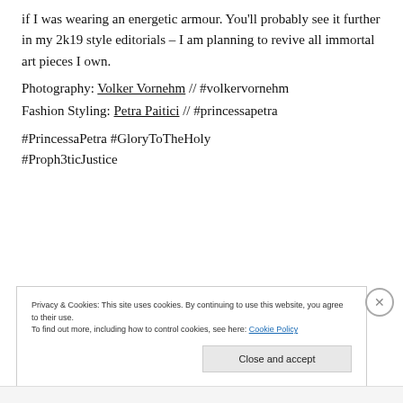if I was wearing an energetic armour. You'll probably see it further in my 2k19 style editorials – I am planning to revive all immortal art pieces I own.
Photography: Volker Vornehm // #volkervornehm
Fashion Styling: Petra Paitici // #princessapetra
#PrincessaPetra #GloryToTheHoly #Proph3ticJustice
Privacy & Cookies: This site uses cookies. By continuing to use this website, you agree to their use.
To find out more, including how to control cookies, see here: Cookie Policy